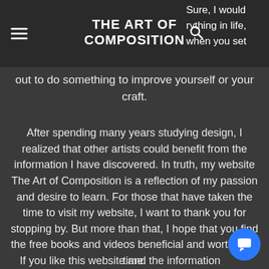THE ART OF COMPOSITION
sure, I would rything in life, when you set out to do something to improve yourself or your craft.
After spending many years studying design, I realized that other artists could benefit from the information I have discovered. In truth, my website The Art of Composition is a reflection of my passion and desire to learn. For those that have taken the time to visit my website, I want to thank you for stopping by. But more than that, I hope that you find the free books and videos beneficial and worth your time.
If you like this website and the information